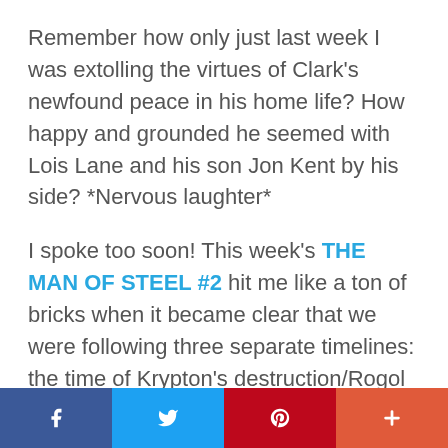Remember how only just last week I was extolling the virtues of Clark's newfound peace in his home life? How happy and grounded he seemed with Lois Lane and his son Jon Kent by his side? *Nervous laughter*
I spoke too soon! This week's THE MAN OF STEEL #2 hit me like a ton of bricks when it became clear that we were following three separate timelines: the time of Krypton's destruction/Rogol Zaar's origin story, the present including the mysterious arson happening around Metropolis, and a third
f  [twitter bird]  p  +